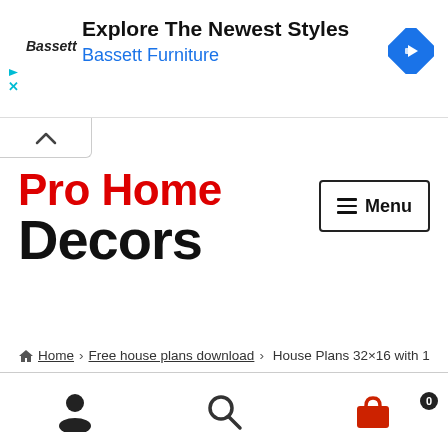[Figure (screenshot): Bassett Furniture advertisement banner with logo text 'Bassett', headline 'Explore The Newest Styles', subtitle 'Bassett Furniture' in blue, and a blue diamond navigation icon on the right.]
[Figure (other): Collapse/chevron up button below the ad banner]
Pro Home Decors
[Figure (other): Menu button with hamburger icon and text 'Menu']
Home › Free house plans download › House Plans 32×16 with 1 Bedroom PDF Floor Plan
[Figure (other): Bottom navigation bar with person icon, search icon, and shopping cart icon with badge '0']